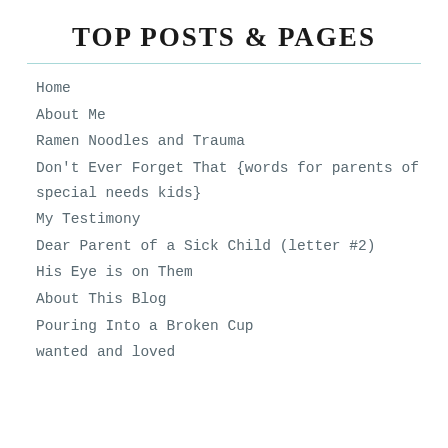TOP POSTS & PAGES
Home
About Me
Ramen Noodles and Trauma
Don't Ever Forget That {words for parents of special needs kids}
My Testimony
Dear Parent of a Sick Child (letter #2)
His Eye is on Them
About This Blog
Pouring Into a Broken Cup
wanted and loved